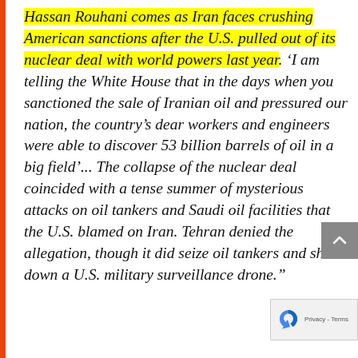Hassan Rouhani comes as Iran faces crushing American sanctions after the U.S. pulled out of its nuclear deal with world powers last year. 'I am telling the White House that in the days when you sanctioned the sale of Iranian oil and pressured our nation, the country's dear workers and engineers were able to discover 53 billion barrels of oil in a big field'... The collapse of the nuclear deal coincided with a tense summer of mysterious attacks on oil tankers and Saudi oil facilities that the U.S. blamed on Iran. Tehran denied the allegation, though it did seize oil tankers and shoot down a U.S. military surveillance drone."